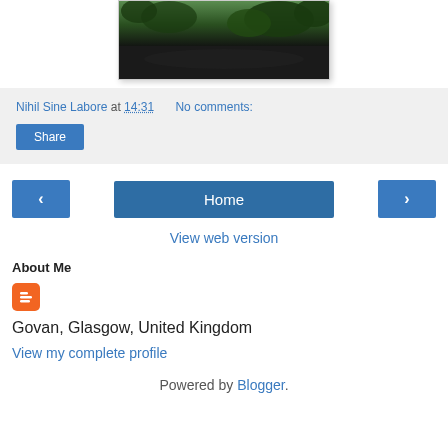[Figure (photo): Outdoor photograph showing a dark road/path with trees and bushes in the background, top portion of image visible]
Nihil Sine Labore at 14:31   No comments:
Share
‹   Home   ›
View web version
About Me
[Figure (logo): Blogger orange square icon with B logo]
Govan, Glasgow, United Kingdom
View my complete profile
Powered by Blogger.